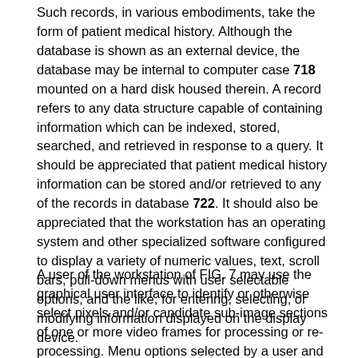Such records, in various embodiments, take the form of patient medical history. Although the database is shown as an external device, the database may be internal to computer case 718 mounted on a hard disk housed therein. A record refers to any data structure capable of containing information which can be indexed, stored, searched, and retrieved in response to a query. It should be appreciated that patient medical history information can be stored and/or retrieved to any of the records in database 722. It should also be appreciated that the workstation has an operating system and other specialized software configured to display a variety of numeric values, text, scroll bars, pull-down menus with user selectable options, and the like, for entering, selecting, or modifying information displayed on the display device.
A user of the workstation of FIG. 7 may use the graphical user interface to identify or otherwise select pixels and/or candidate sub-image sections of one or more video frames for processing or re-processing. Menu options selected by a user and any other selections such as regions of exposed skin, video frames, candidate image subsections, proximal and distal regions, and the like, can